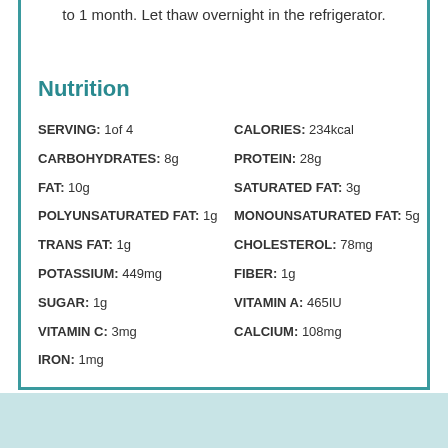to 1 month. Let thaw overnight in the refrigerator.
Nutrition
| Nutrient | Value |
| --- | --- |
| SERVING: | 1of 4 | CALORIES: | 234kcal |
| CARBOHYDRATES: | 8g | PROTEIN: | 28g |
| FAT: | 10g | SATURATED FAT: | 3g |
| POLYUNSATURATED FAT: | 1g | MONOUNSATURATED FAT: | 5g |
| TRANS FAT: | 1g | CHOLESTEROL: | 78mg |
| POTASSIUM: | 449mg | FIBER: | 1g |
| SUGAR: | 1g | VITAMIN A: | 465IU |
| VITAMIN C: | 3mg | CALCIUM: | 108mg |
| IRON: | 1mg |  |  |